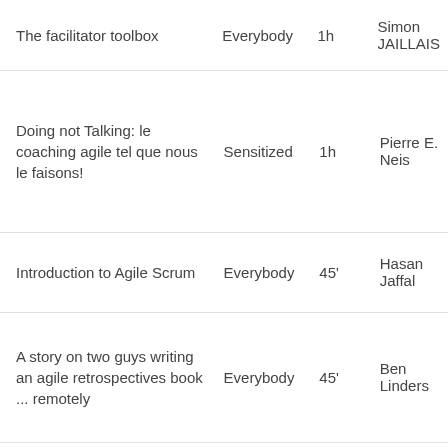| Title | Level | Time | Speaker |
| --- | --- | --- | --- |
| The facilitator toolbox | Everybody | 1h | Simon JAILLAIS |
| Doing not Talking: le coaching agile tel que nous le faisons! | Sensitized | 1h | Pierre E. Neis |
| Introduction to Agile Scrum | Everybody | 45' | Hasan Jaffal |
| A story on two guys writing an agile retrospectives book ... remotely | Everybody | 45' | Ben Linders |
Lithuania - Kaunas
| Title | Level | Time | Speaker |
| --- | --- | --- | --- |
| Hostile or friendly environment, in ... |  |  | Marok... |